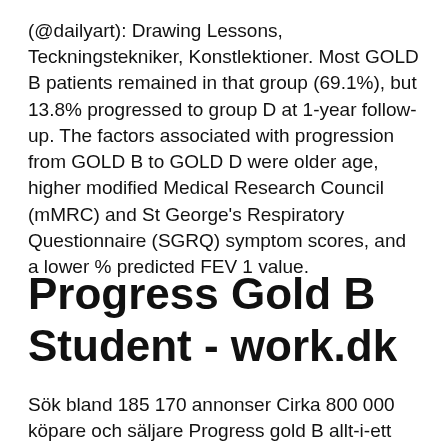(@dailyart): Drawing Lessons, Teckningstekniker, Konstlektioner. Most GOLD B patients remained in that group (69.1%), but 13.8% progressed to group D at 1-year follow-up. The factors associated with progression from GOLD B to GOLD D were older age, higher modified Medical Research Council (mMRC) and St George's Respiratory Questionnaire (SGRQ) symptom scores, and a lower % predicted FEV 1 value.
Progress Gold B Student - work.dk
Sök bland 185 170 annonser Cirka 800 000 köpare och säljare Progress gold B allt-i-ett med CD-ROM för engelska B, av Eva Hedencrona, Karin Smed...